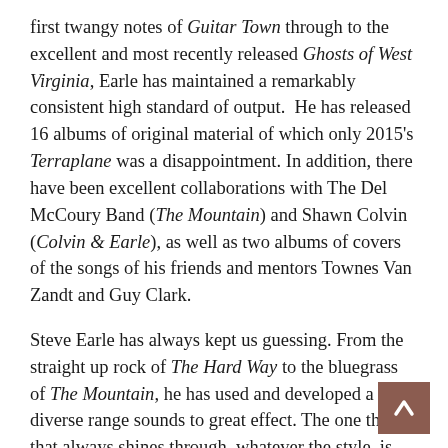first twangy notes of Guitar Town through to the excellent and most recently released Ghosts of West Virginia, Earle has maintained a remarkably consistent high standard of output. He has released 16 albums of original material of which only 2015's Terraplane was a disappointment. In addition, there have been excellent collaborations with The Del McCoury Band (The Mountain) and Shawn Colvin (Colvin & Earle), as well as two albums of covers of the songs of his friends and mentors Townes Van Zandt and Guy Clark.
Steve Earle has always kept us guessing. From the straight up rock of The Hard Way to the bluegrass of The Mountain, he has used and developed a diverse range sounds to great effect. The one thing that always shines through, whatever the style, is the quality of the songs. Whether the subject matter is love, loss and heartbreak or whether its highlighting and addressing political issues, Earle is a master of them all. What has consistently connected me to him, is that whether the subject matter is emotional or political, Steve Earle is always uncompromising. This brings me on to the nature of the man